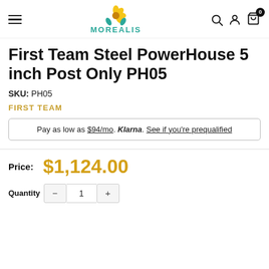MOREALIS — navigation header with hamburger menu, logo, search, account, and cart icons
First Team Steel PowerHouse 5 inch Post Only PH05
SKU: PH05
FIRST TEAM
Pay as low as $94/mo. Klarna. See if you're prequalified
Price: $1,124.00
Quantity controls